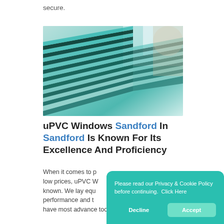secure.
[Figure (photo): Stacked glass panels with aluminum/black spacers viewed at an angle, teal/mint toned glass in a warehouse or showroom setting]
uPVC Windows Sandford In Sandford Is Known For Its Excellence And Proficiency
When it comes to low prices, uPVC W known. We lay equ performance and t have most advance tools and offer best
Please read our Privacy & Cookie Policy before continuing.  Click Here
Decline
Accept